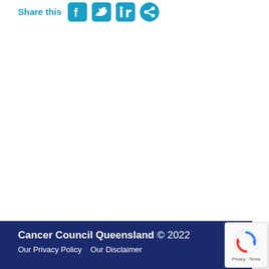Share this
[Figure (illustration): Social media sharing icons: Facebook, Twitter, LinkedIn, and a share/email button, all in blue]
Cancer Council Queensland © 2022
Our Privacy Policy   Our Disclaimer
[Figure (screenshot): reCAPTCHA privacy badge with spinning arrows logo, text reading Privacy · Terms]